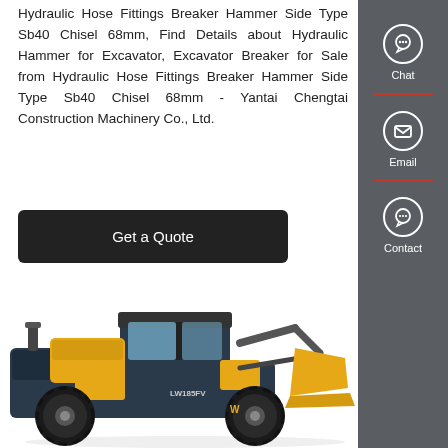Hydraulic Hose Fittings Breaker Hammer Side Type Sb40 Chisel 68mm, Find Details about Hydraulic Hammer for Excavator, Excavator Breaker for Sale from Hydraulic Hose Fittings Breaker Hammer Side Type Sb40 Chisel 68mm - Yantai Chengtai Construction Machinery Co., Ltd.
[Figure (other): Button labeled 'Get a Quote' with dark background]
[Figure (photo): Yellow and dark blue wheel loader construction machine (LW185FV) with front bucket attachment, photographed on white background]
[Figure (infographic): Dark grey sidebar with three icons: Chat (headset icon), Email (envelope icon), Contact (speech bubble icon), separated by red divider lines]